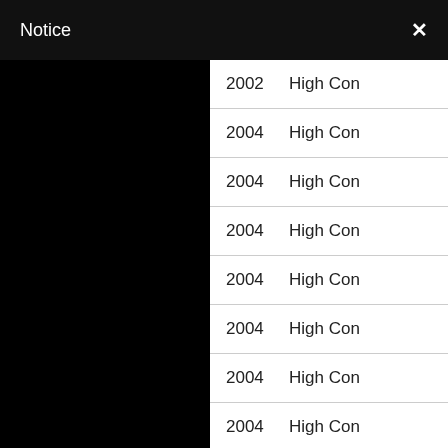Notice ×
| Year | Type |
| --- | --- |
| 2002 | High Con |
| 2004 | High Con |
| 2004 | High Con |
| 2004 | High Con |
| 2004 | High Con |
| 2004 | High Con |
| 2004 | High Con |
| 2004 | High Con |
| 2004 | High Con |
| 2004 | High Con |
| 2004 | High Con |
| 2004 | High Con |